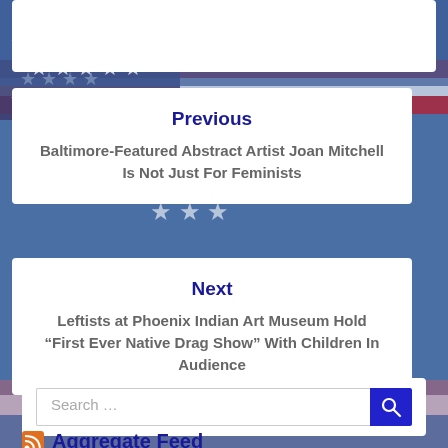[Figure (photo): American flag background with stars and stripes, blue and red, partially visible throughout the page]
Previous
Baltimore-Featured Abstract Artist Joan Mitchell Is Not Just For Feminists
Next
Leftists at Phoenix Indian Art Museum Hold “First Ever Native Drag Show” With Children In Audience
Search …
Aggregate Feed